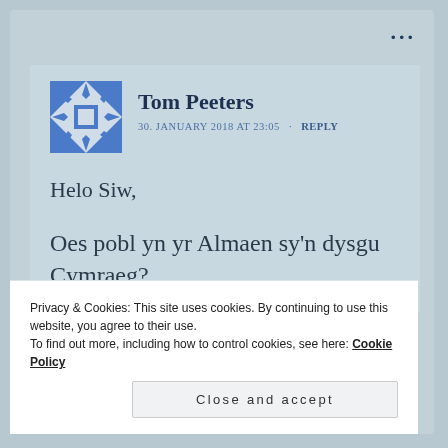···
[Figure (illustration): Blue and white geometric snowflake/tile pattern avatar for Tom Peeters]
Tom Peeters
30. JANUARY 2018 AT 23:05 · REPLY
Helo Siw,
Oes pobl yn yr Almaen sy'n dysgu Cymraeg?
Privacy & Cookies: This site uses cookies. By continuing to use this website, you agree to their use.
To find out more, including how to control cookies, see here: Cookie Policy
Close and accept